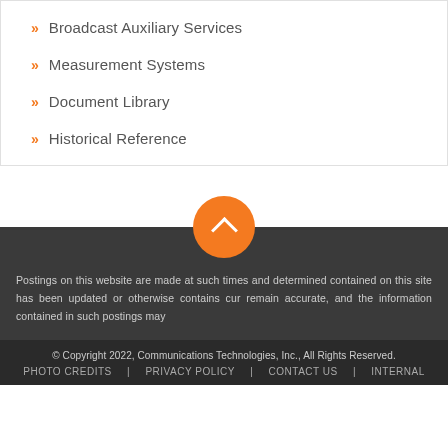Broadcast Auxiliary Services
Measurement Systems
Document Library
Historical Reference
Postings on this website are made at such times and determined contained on this site has been updated or otherwise contains cur remain accurate, and the information contained in such postings may
© Copyright 2022, Communications Technologies, Inc., All Rights Reserved. PHOTO CREDITS | PRIVACY POLICY | CONTACT US | INTERNAL